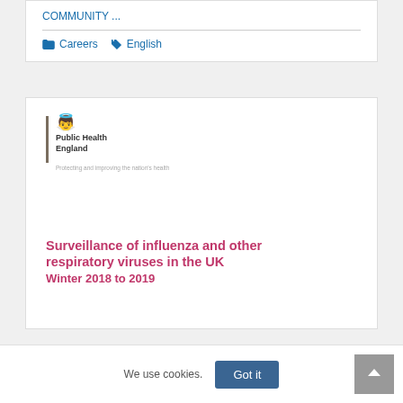COMMUNITY ...
Careers
English
[Figure (logo): Public Health England government logo with crown crest and vertical bar, tagline: Protecting and improving the nation's health]
Surveillance of influenza and other respiratory viruses in the UK Winter 2018 to 2019
We use cookies.